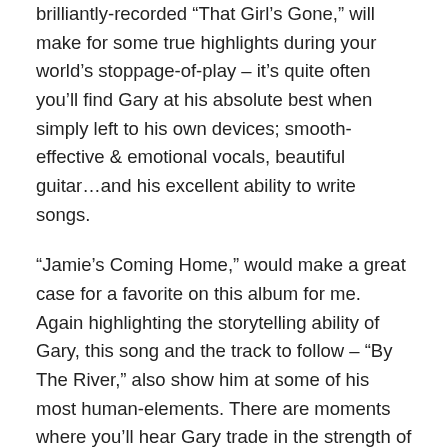brilliantly-recorded “That Girl’s Gone,” will make for some true highlights during your world’s stoppage-of-play – it’s quite often you’ll find Gary at his absolute best when simply left to his own devices; smooth-effective & emotional vocals, beautiful guitar…and his excellent ability to write songs.
“Jamie’s Coming Home,” would make a great case for a favorite on this album for me. Again highlighting the storytelling ability of Gary, this song and the track to follow – “By The River,” also show him at some of his most human-elements. There are moments where you’ll hear Gary trade in the strength of tone for a more honest and authentic recording in the vocals; there are imperfections – and like the many of you out there embracing this musical route, there are moments where this pays off extremely well.
The final two tracks end this album on all the right notes for me. “Holidays On Mars” is undeniably catchy…and for those wondering where the Granddaddy reference came from earlier…well…